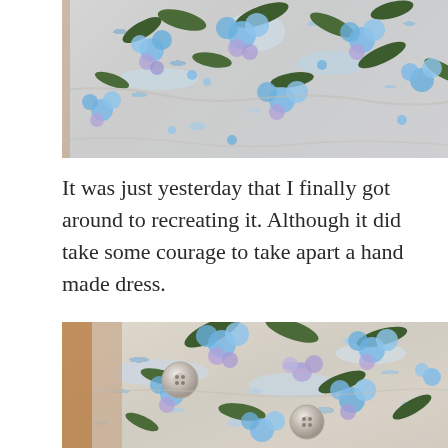[Figure (photo): Close-up photo of white fabric with blue and purple floral pattern (lilac/hydrangea clusters with dark green leaves), appears to be a dress laid on a wooden surface]
It was just yesterday that I finally got around to recreating it. Although it did take some courage to take apart a hand made dress.
[Figure (photo): Close-up photo of white floral fabric dress laid flat on a wooden surface, showing blue and purple flower clusters with dark green leaves and two round mother-of-pearl buttons visible]